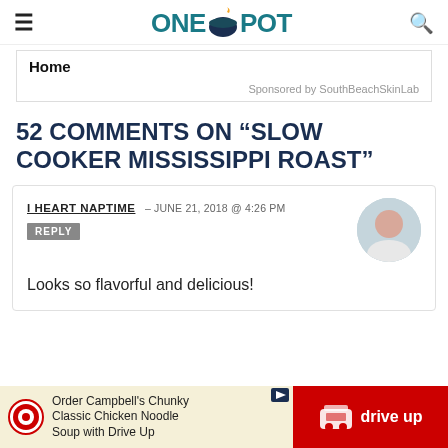ONE POT
Home
Sponsored by SouthBeachSkinLab
52 COMMENTS ON “SLOW COOKER MISSISSIPPI ROAST”
I HEART NAPTIME – JUNE 21, 2018 @ 4:26 PM
REPLY
Looks so flavorful and delicious!
[Figure (other): Target advertisement: Order Campbell's Chunky Classic Chicken Noodle Soup with Drive Up]